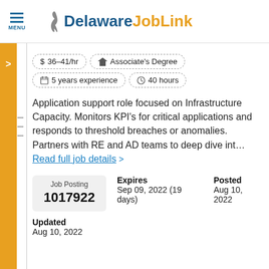Delaware JobLink
$ 36-41/hr  |  Associate's Degree  |  5 years experience  |  40 hours
Application support role focused on Infrastructure Capacity. Monitors KPI's for critical applications and responds to threshold breaches or anomalies. Partners with RE and AD teams to deep dive int… Read full job details >
| Job Posting | Expires | Posted |
| --- | --- | --- |
| 1017922 | Sep 09, 2022 (19 days) | Aug 10, 2022 |
Updated
Aug 10, 2022